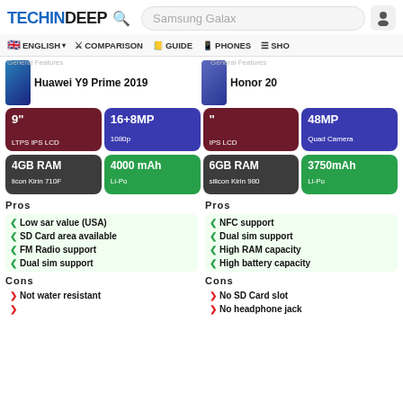TECHINDEEP | Search: Samsung Galax
ENGLISH | COMPARISON | GUIDE | PHONES | SHO
General Features — Huawei Y9 Prime 2019 | General Features — Honor 20
[Figure (screenshot): Spec tiles for Huawei Y9 Prime 2019: 9" LTPS IPS LCD, 16+8MP 1080p, 4GB RAM HiSilicon Kirin 710F, 4000 mAh Li-Po]
[Figure (screenshot): Spec tiles for Honor 20: IPS LCD, 48MP Quad Camera, 6GB RAM HiSilicon Kirin 980, 3750mAh Li-Po]
Pros
Low sar value (USA)
SD Card area available
FM Radio support
Dual sim support
Pros
NFC support
Dual sim support
High RAM capacity
High battery capacity
Cons
Not water resistant
Cons
No SD Card slot
No headphone jack